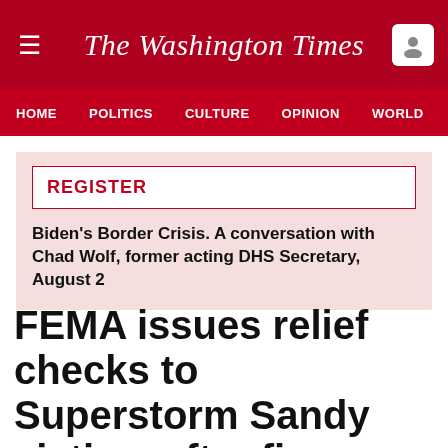The Washington Times
HOME  POLITICS  CULTURE  OPINION  WORLD  SECURITY
REGISTER
Biden's Border Crisis. A conversation with Chad Wolf, former acting DHS Secretary, August 2
FEMA issues relief checks to Superstorm Sandy victims after five years